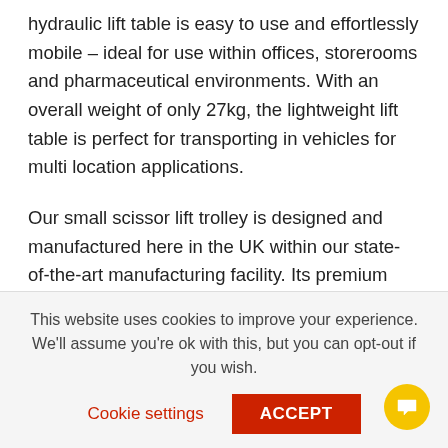hydraulic lift table is easy to use and effortlessly mobile – ideal for use within offices, storerooms and pharmaceutical environments. With an overall weight of only 27kg, the lightweight lift table is perfect for transporting in vehicles for multi location applications.
Our small scissor lift trolley is designed and manufactured here in the UK within our state-of-the-art manufacturing facility. Its premium design and high quality components offers superior features when compared to other lift tables. As standard, the hydraulic lifting trolley comes
This website uses cookies to improve your experience. We'll assume you're ok with this, but you can opt-out if you wish.